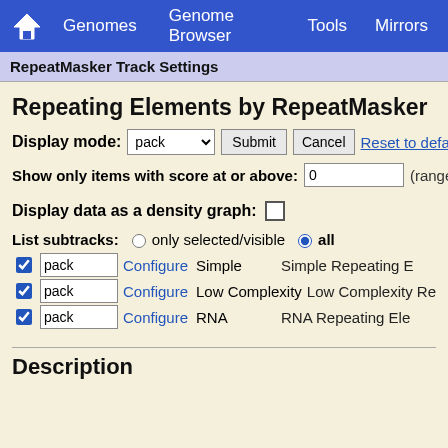Genomes  Genome Browser  Tools  Mirrors
RepeatMasker Track Settings
Repeating Elements by RepeatMasker  (▲All
Display mode: pack  Submit  Cancel  Reset to default
Show only items with score at or above: 0  (range
Display data as a density graph:
List subtracks:  only selected/visible  all
pack  Configure  Simple  Simple Repeating E
pack  Configure  Low Complexity  Low Complexity Re
pack  Configure  RNA  RNA Repeating Ele
Description